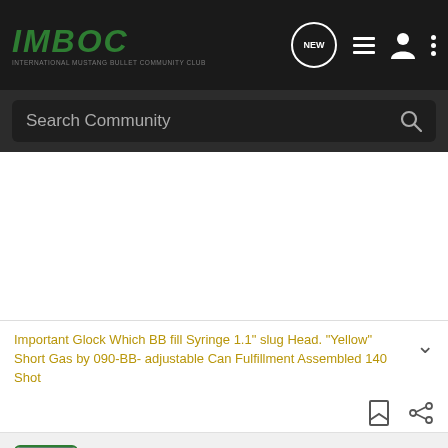IMBOC - INTERNATIONAL MUSTANG BULLET COMMUNITY CLUB
Search Community
Important Glock Which BB fill Syringe 1.1" slug Head. "Yellow" Short Gas by 090-BB- adjustable Can Fulfillment Assembled 140 Shot
marichardson · Premium Member · Joined Apr 25, 2008 · 4,215 Posts
#3 · Feb 12, 2009